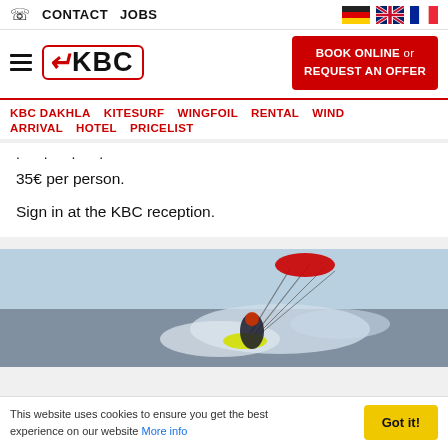☎ CONTACT   JOBS
[Figure (logo): KBC logo with red border and stylized C]
BOOK ONLINE or REQUEST AN OFFER
KBC DAKHLA   KITESURF   WINGFOIL   RENTAL   WIND   ARRIVAL   HOTEL   PRICELIST
35€ per person.

Sign in at the KBC reception.
[Figure (photo): Kitesurfer on water with yellow kite, spray and blue sky]
This website uses cookies to ensure you get the best experience on our website More info